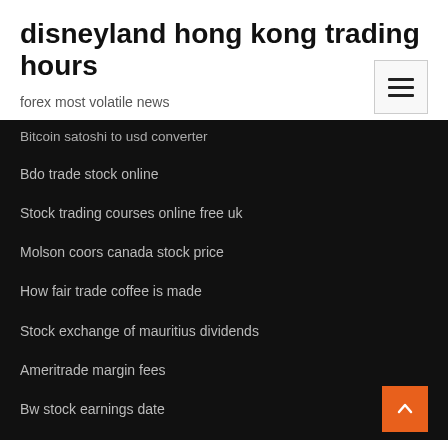disneyland hong kong trading hours
forex most volatile news
Bitcoin satoshi to usd converter
Bdo trade stock online
Stock trading courses online free uk
Molson coors canada stock price
How fair trade coffee is made
Stock exchange of mauritius dividends
Ameritrade margin fees
Bw stock earnings date
Restaurant franchise stocks